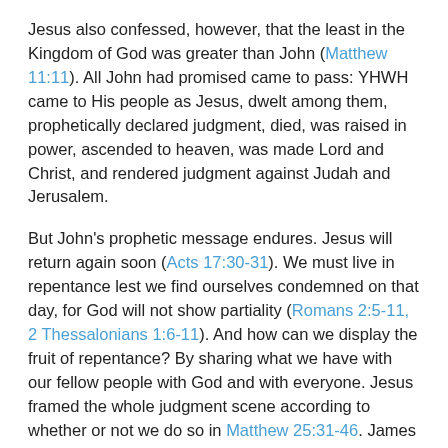Jesus also confessed, however, that the least in the Kingdom of God was greater than John (Matthew 11:11). All John had promised came to pass: YHWH came to His people as Jesus, dwelt among them, prophetically declared judgment, died, was raised in power, ascended to heaven, was made Lord and Christ, and rendered judgment against Judah and Jerusalem.
But John's prophetic message endures. Jesus will return again soon (Acts 17:30-31). We must live in repentance lest we find ourselves condemned on that day, for God will not show partiality (Romans 2:5-11, 2 Thessalonians 1:6-11). And how can we display the fruit of repentance? By sharing what we have with our fellow people with God and with everyone. Jesus framed the whole judgment scene according to whether or not we do so in Matthew 25:31-46. James asked how a Christian could tell someone in need to be warmed and filled without giving what was necessary and then think their faith without works could save them (James 2:14-26). John wondered how Christians could really say they loved one another and would even die for one another if they did not prove willing to provide material goods to one another in need (1 John 3:16-18, 4:7-21). Paul continually exhorted Christians to give to those in need, especially to those